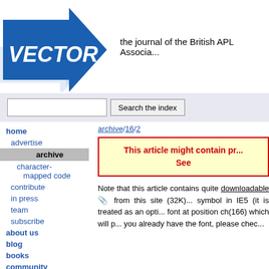[Figure (logo): VECTOR blue arrow logo with text VECTOR in bold italic white on blue arrow shape, with lighter blue shadow arrows behind]
the journal of the British APL Associa...
Search the index (search bar with input and button)
home
advertise
archive
character-mapped code
contribute
in press
team
subscribe
about us
blog
books
community
archive/16/2
This article might contain pr... See
Note that this article contains quite... downloadable from this site (32K)... symbol in IE5 (it is treated as an opti... font at position ch(166) which will p... you already have the font, please chec...